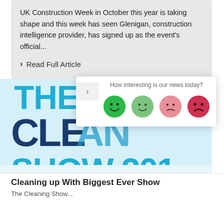UK Construction Week in October this year is taking shape and this week has seen Glenigan, construction intelligence provider, has signed up as the event's official...
> Read Full Article
[Figure (photo): Cleaning Show 2017 event logo banner with 'THE CLEANING SHOW 201.' text in large blue letters on light blue background, with partial date strip below]
How interesting is our news today?
[Figure (infographic): Four emoji-style smiley faces ranging from very happy (dark green) to unhappy (dark red/pink), used as a news rating widget]
Cleaning up With Biggest Ever Show
The Cleaning Show...